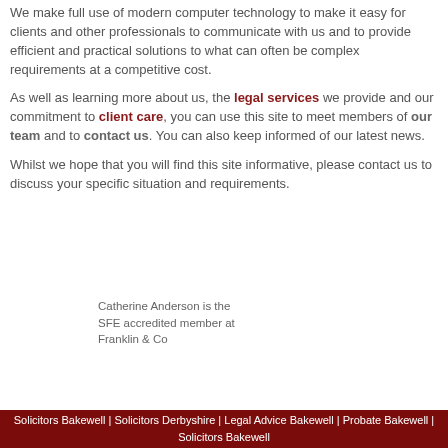We make full use of modern computer technology to make it easy for clients and other professionals to communicate with us and to provide efficient and practical solutions to what can often be complex requirements at a competitive cost.
As well as learning more about us, the legal services we provide and our commitment to client care, you can use this site to meet members of our team and to contact us. You can also keep informed of our latest news.
Whilst we hope that you will find this site informative, please contact us to discuss your specific situation and requirements.
Catherine Anderson is the SFE accredited member at Franklin & Co
Solicitors Bakewell | Solicitors Derbyshire | Legal Advice Bakewell | Probate Bakewell | Solicitors Bakewell